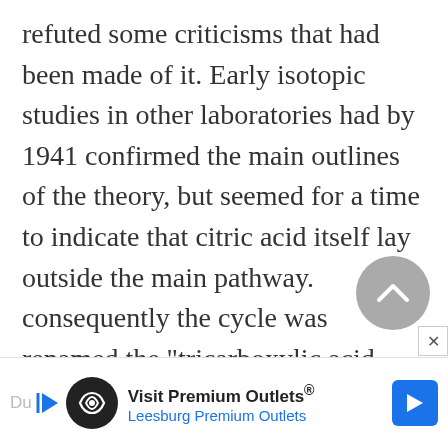refuted some criticisms that had been made of it. Early isotopic studies in other laboratories had by 1941 confirmed the main outlines of the theory, but seemed for a time to indicate that citric acid itself lay outside the main pathway. consequently the cycle was renamed the “tricarboxylic acid cycle,” although it was already referred to sometimes as the “Krebs cycle,”
[Figure (other): Scroll-to-top circular button with upward chevron arrow icon, gray background]
[Figure (other): Advertisement banner: Visit Premium Outlets® / Leesburg Premium Outlets with logo and navigation arrow]